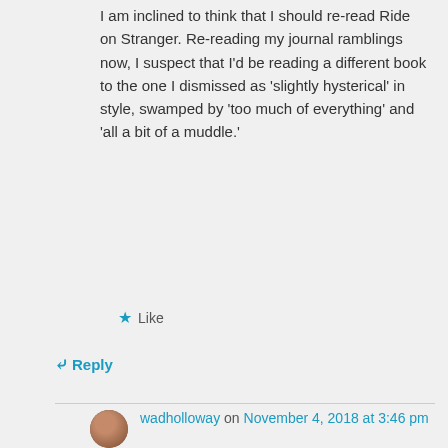I am inclined to think that I should re-read Ride on Stranger. Re-reading my journal ramblings now, I suspect that I'd be reading a different book to the one I dismissed as 'slightly hysterical' in style, swamped by 'too much of everything' and 'all a bit of a muddle.'
★ Like
↳ Reply
wadholloway on November 4, 2018 at 3:46 pm
👍 0 👎 0 ℹ Rate This
I hope you do, and look forward to